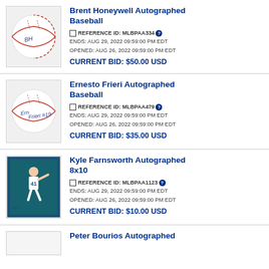Brent Honeywell Autographed Baseball
REFERENCE ID: MLBPAA334
ENDS: AUG 29, 2022 09:59:00 PM EDT
OPENED: AUG 26, 2022 09:59:00 PM EDT
CURRENT BID: $50.00 USD
Ernesto Frieri Autographed Baseball
REFERENCE ID: MLBPAA479
ENDS: AUG 29, 2022 09:59:00 PM EDT
OPENED: AUG 26, 2022 09:59:00 PM EDT
CURRENT BID: $35.00 USD
Kyle Farnsworth Autographed 8x10
REFERENCE ID: MLBPAA1123
ENDS: AUG 29, 2022 09:59:00 PM EDT
OPENED: AUG 26, 2022 09:59:00 PM EDT
CURRENT BID: $10.00 USD
Peter Bourios Autographed